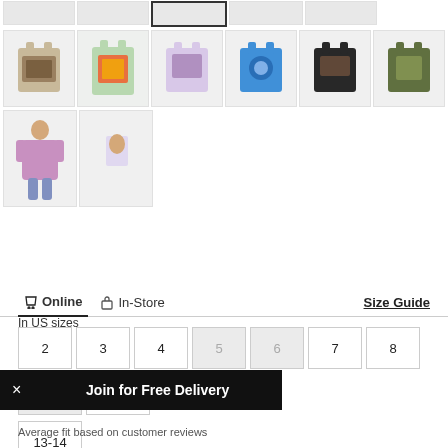[Figure (screenshot): Product thumbnail images of children's graphic t-shirts in a grid layout, with top partial row showing cropped tops]
Online   In-Store   Size Guide
In US sizes
2  3  4  5  6  7  8  9-10  11-12  13-14
Join for Free Delivery
Average fit based on customer reviews